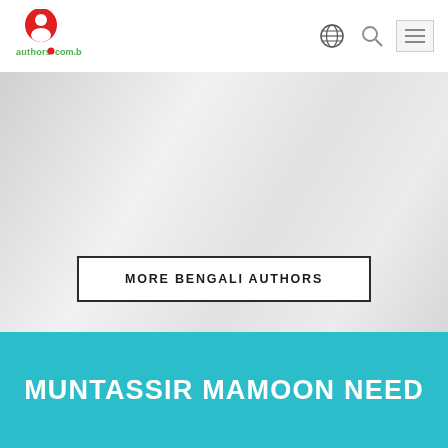authors.com.bd
[Figure (illustration): Faded grey/white background hero image area]
MORE BENGALI AUTHORS
MUNTASSIR MAMOON NEED